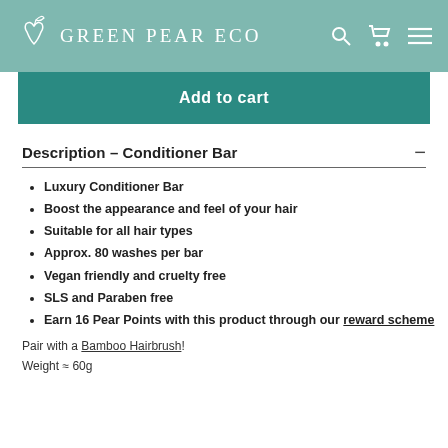GREEN PEAR ECO
Add to cart
Description – Conditioner Bar
Luxury Conditioner Bar
Boost the appearance and feel of your hair
Suitable for all hair types
Approx. 80 washes per bar
Vegan friendly and cruelty free
SLS and Paraben free
Earn 16 Pear Points with this product through our reward scheme
Pair with a Bamboo Hairbrush!
Weight ≈ 60g